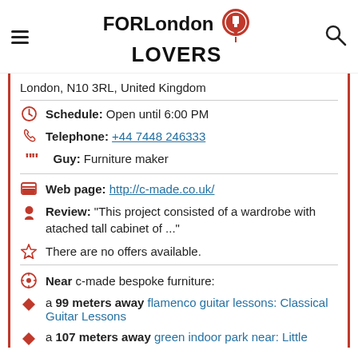FOR London LOVERS
London, N10 3RL, United Kingdom
Schedule: Open until 6:00 PM
Telephone: +44 7448 246333
Guy: Furniture maker
Web page: http://c-made.co.uk/
Review: "This project consisted of a wardrobe with atached tall cabinet of ..."
There are no offers available.
Near c-made bespoke furniture:
a 99 meters away flamenco guitar lessons: Classical Guitar Lessons
a 107 meters away green indoor park near: Little